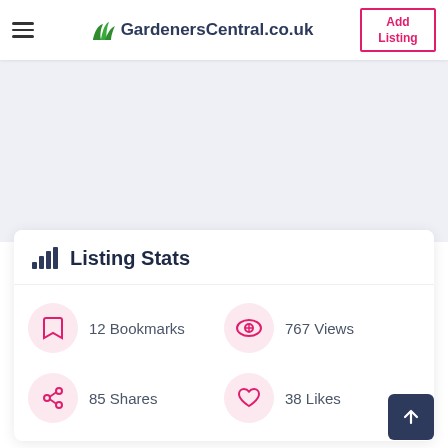GardenersCentral.co.uk — Add Listing
Listing Stats
12 Bookmarks
767 Views
85 Shares
38 Likes